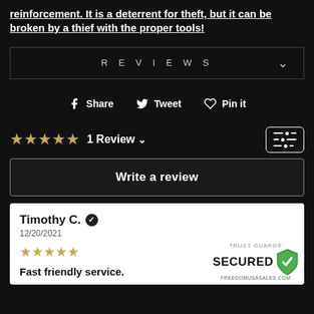reinforcement. It is a deterrent for theft, but it can be broken by a thief with the proper tools!
REVIEWS
Share  Tweet  Pin it
★★★★★  1 Review
Write a review
Timothy C. ✓
12/20/2021
★★★★★
Fast friendly service.